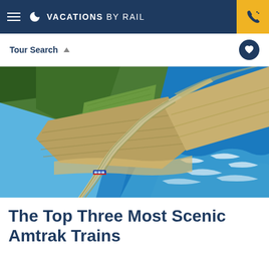VACATIONS BY RAIL
Tour Search
[Figure (photo): Aerial view of an Amtrak train traveling along a coastal cliff route beside bright blue ocean water, with green hills and farmland on the left side.]
The Top Three Most Scenic Amtrak Trains